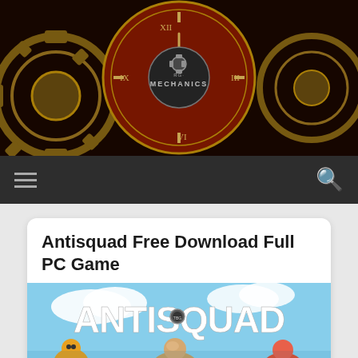[Figure (logo): RG Mechanics logo over a dark steampunk background with golden gears and clock face imagery]
☰  🔍
Antisquad Free Download Full PC Game
[Figure (photo): Antisquad game cover art with large text ANTISQUAD on blue sky background with cartoon characters below]